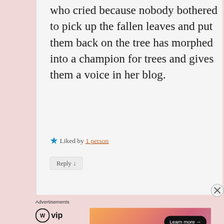who cried because nobody bothered to pick up the fallen leaves and put them back on the tree has morphed into a champion for trees and gives them a voice in her blog.
★ Liked by 1 person
Reply ↓
Advertisements
[Figure (logo): WordPress VIP logo — WordPress circle icon followed by 'vip' text]
[Figure (photo): Advertisement banner with gradient orange-pink background and 'Learn more →' button]